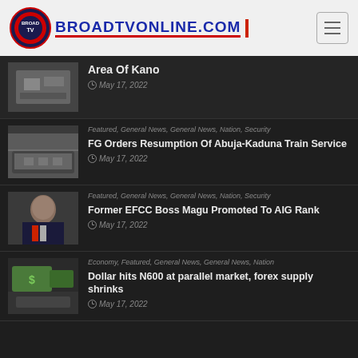BROADTVONLINE.COM
[Figure (photo): News thumbnail for Kano article]
Area Of Kano
May 17, 2022
Featured, General News, General News, Nation, Security
[Figure (photo): News thumbnail for train service article]
FG Orders Resumption Of Abuja-Kaduna Train Service
May 17, 2022
Featured, General News, General News, Nation, Security
[Figure (photo): News thumbnail showing man in suit (EFCC Boss Magu)]
Former EFCC Boss Magu Promoted To AIG Rank
May 17, 2022
Economy, Featured, General News, General News, Nation
[Figure (photo): News thumbnail showing money/currency]
Dollar hits N600 at parallel market, forex supply shrinks
May 17, 2022